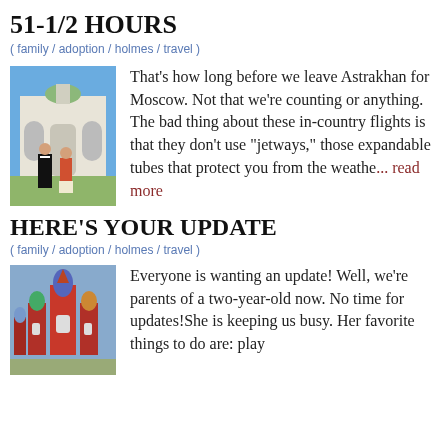51-1/2 HOURS
( family / adoption / holmes / travel )
[Figure (photo): Two people standing in front of a large white Russian Orthodox church or building with ornate architecture, blue sky in background.]
That's how long before we leave Astrakhan for Moscow. Not that we're counting or anything. The bad thing about these in-country flights is that they don't use "jetways," those expandable tubes that protect you from the weathe... read more
HERE'S YOUR UPDATE
( family / adoption / holmes / travel )
[Figure (photo): Saint Basil's Cathedral in Moscow, Russia, with colorful onion domes, partially visible.]
Everyone is wanting an update! Well, we're parents of a two-year-old now. No time for updates!She is keeping us busy. Her favorite things to do are: play